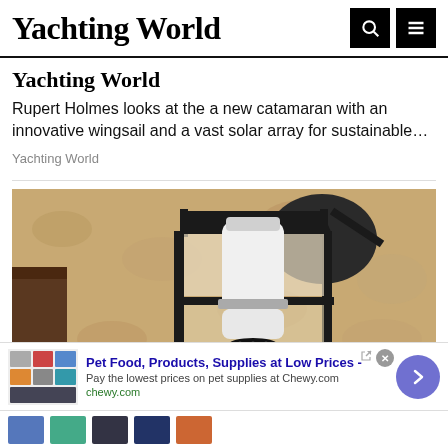Yachting World
Yachting World
Rupert Holmes looks at the a new catamaran with an innovative wingsail and a vast solar array for sustainable…
Yachting World
[Figure (photo): Outdoor wall lantern fixture with a white bulb, mounted on a textured beige stucco wall]
Pet Food, Products, Supplies at Low Prices -
Pay the lowest prices on pet supplies at Chewy.com
chewy.com